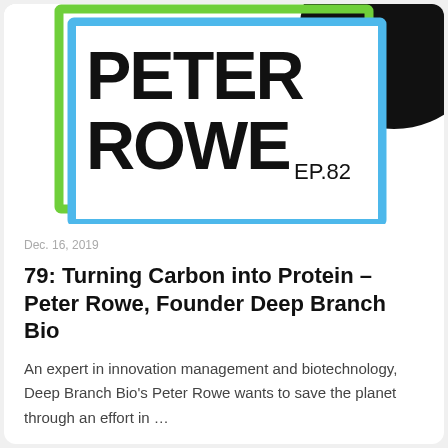[Figure (illustration): Podcast episode graphic showing 'PETER ROWE EP.82' in bold text inside a green and blue bordered box, with a black circular graphic element in the upper right corner, on a white background.]
Dec. 16, 2019
79: Turning Carbon into Protein – Peter Rowe, Founder Deep Branch Bio
An expert in innovation management and biotechnology, Deep Branch Bio's Peter Rowe wants to save the planet through an effort in …
→ Episode page